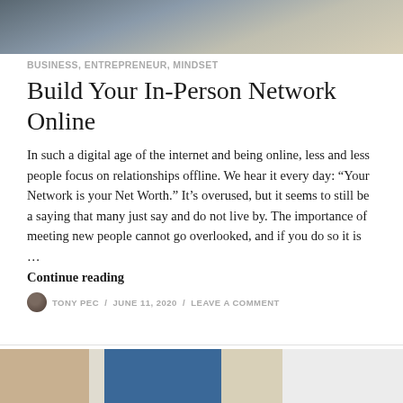[Figure (photo): Top partial photo of two people standing, cropped to show lower bodies/legs area]
BUSINESS, ENTREPRENEUR, MINDSET
Build Your In-Person Network Online
In such a digital age of the internet and being online, less and less people focus on relationships offline. We hear it every day: “Your Network is your Net Worth.” It’s overused, but it seems to still be a saying that many just say and do not live by. The importance of meeting new people cannot go overlooked, and if you do so it is …
Continue reading
TONY PEC / JUNE 11, 2020 / LEAVE A COMMENT
[Figure (photo): Bottom partial photo showing a desk scene with what appears to be a coffee cup, notebook, and laptop/tablet]